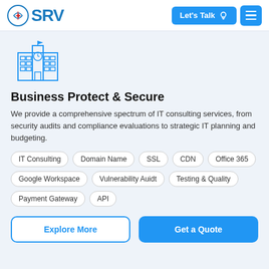SRV | Let's Talk | Menu
[Figure (illustration): Building/institution icon in blue outline style]
Business Protect & Secure
We provide a comprehensive spectrum of IT consulting services, from security audits and compliance evaluations to strategic IT planning and budgeting.
IT Consulting
Domain Name
SSL
CDN
Office 365
Google Workspace
Vulnerability Auidt
Testing & Quality
Payment Gateway
API
Explore More | Get a Quote